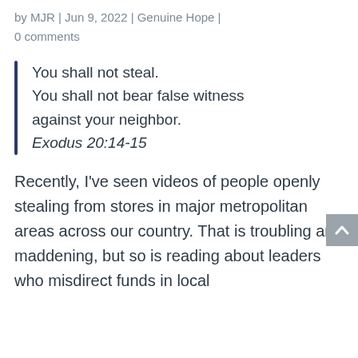by MJR | Jun 9, 2022 | Genuine Hope | 0 comments
You shall not steal.
You shall not bear false witness against your neighbor.
Exodus 20:14-15
Recently, I’ve seen videos of people openly stealing from stores in major metropolitan areas across our country. That is troubling and maddening, but so is reading about leaders who misdirect funds in local